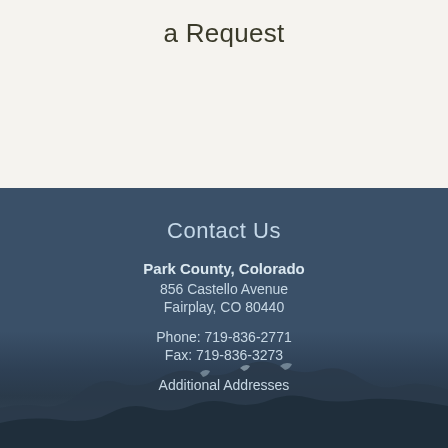a Request
Contact Us
Park County, Colorado
856 Castello Avenue
Fairplay, CO 80440

Phone: 719-836-2771
Fax: 719-836-3273
Additional Addresses